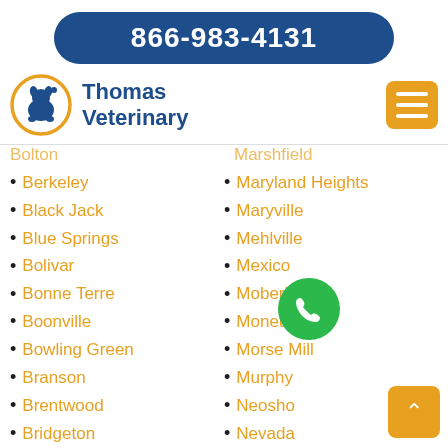866-983-4131
[Figure (logo): Thomas Veterinary logo with orange circle and dog/cat silhouette, blue text reading Thomas Veterinary]
Bolton (partial, top cut off)
Marshfield (partial, top cut off)
Berkeley
Maryland Heights
Black Jack
Maryville
Blue Springs
Mehlville
Bolivar
Mexico
Bonne Terre
Moberly
Boonville
Monett
Bowling Green
Morse Mill
Branson
Murphy
Brentwood
Neosho
Bridgeton
Nevada
Cameron
Newtonia
Cape Girardeau
Nixa